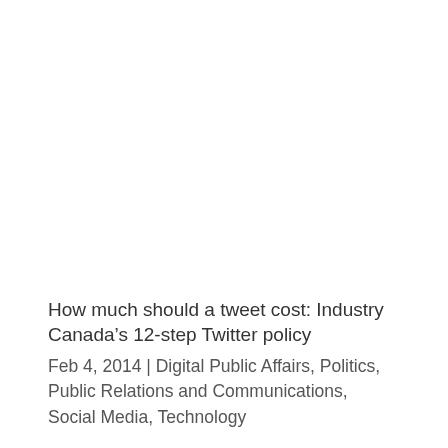How much should a tweet cost: Industry Canada's 12-step Twitter policy
Feb 4, 2014 | Digital Public Affairs, Politics, Public Relations and Communications, Social Media, Technology